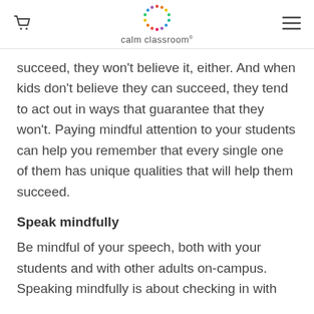calm classroom
succeed, they won't believe it, either. And when kids don't believe they can succeed, they tend to act out in ways that guarantee that they won't. Paying mindful attention to your students can help you remember that every single one of them has unique qualities that will help them succeed.
Speak mindfully
Be mindful of your speech, both with your students and with other adults on-campus. Speaking mindfully is about checking in with